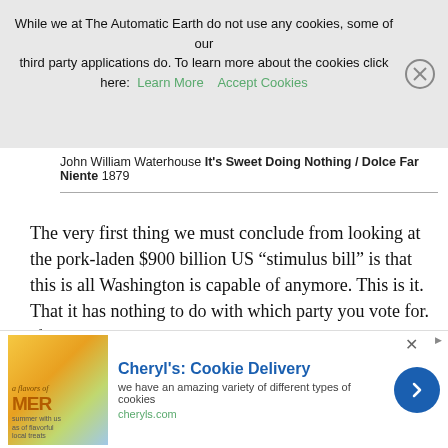While we at The Automatic Earth do not use any cookies, some of our third party applications do. To learn more about the cookies click here: Learn More   Accept Cookies
John William Waterhouse It's Sweet Doing Nothing / Dolce Far Niente 1879
The very first thing we must conclude from looking at the pork-laden $900 billion US “stimulus bill” is that this is all Washington is capable of anymore. This is it. That it has nothing to do with which party you vote for. If you don't come to that conclusion, you’re seriously disoriented.
Both parties have been talking about the bill for 8 months, and blamed
[Figure (screenshot): Advertisement for Cheryl's Cookie Delivery showing cookie image, brand name, tagline, and website URL with a blue arrow button]